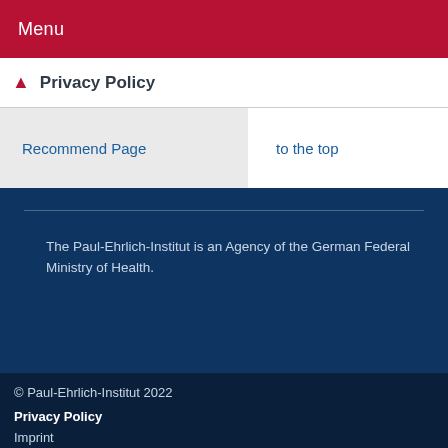Menu
Privacy Policy
Recommend Page
to the top
The Paul-Ehrlich-Institut is an Agency of the German Federal Ministry of Health.
© Paul-Ehrlich-Institut 2022
Privacy Policy
Imprint